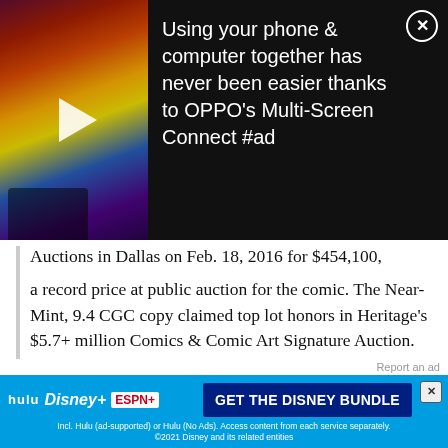[Figure (screenshot): Advertisement banner with video thumbnail on left showing colorful comic art with a play button, and OPPO ad text on right: 'Using your phone & computer together has never been easier thanks to OPPO's Multi-Screen Connect #ad' with an X close button]
Auctions in Dallas on Feb. 18, 2016 for $454,100, a record price at public auction for the comic. The Near-Mint, 9.4 CGC copy claimed top lot honors in Heritage's $5.7+ million Comics & Comic Art Signature Auction.
The copy was purchased in 1980 by New York area collector Walter Yakaboski, a comic book collector, who had the opportunity to buy a handful of key early Marvel comic books for the very tidy sum of $10,000 – a good bit to spend in those days. Among them was the copy
[Figure (screenshot): Disney Bundle advertisement showing Hulu, Disney+, and ESPN+ logos with 'GET THE DISNEY BUNDLE' button and fine print about subscription terms. Report an ad link above.]